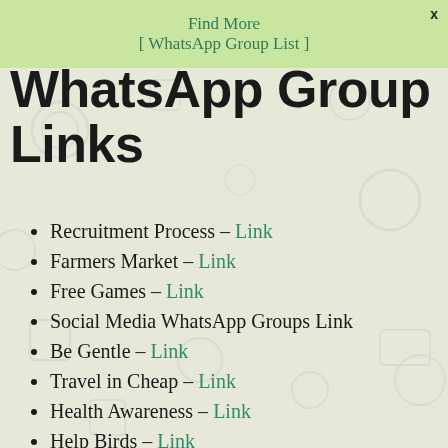Find More
[WhatsApp Group List]
WhatsApp Group Links
Recruitment Process – Link
Farmers Market – Link
Free Games – Link
Social Media WhatsApp Groups Link
Be Gentle – Link
Travel in Cheap – Link
Health Awareness – Link
Help Birds – Link
Announcements WhatsApp Groups Link
Academy Training – Link